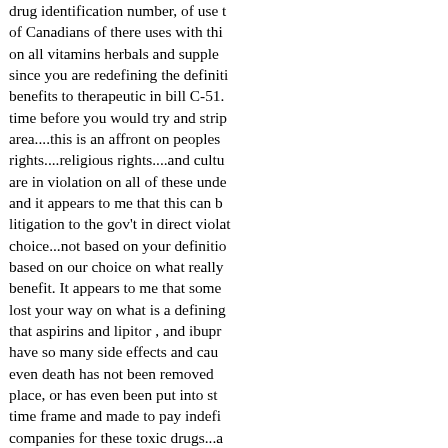drug identification number, of use to of Canadians of there uses with this on all vitamins herbals and supple since you are redefining the definit benefits to therapeutic in bill C-51. time before you would try and strip area....this is an affront on peoples rights....religious rights....and cultu are in violation on all of these unde and it appears to me that this can b litigation to the gov't in direct violat choice...not based on your definitio based on our choice on what really benefit. It appears to me that some lost your way on what is a defining that aspirins and lipitor , and ibupro have so many side effects and cau even death has not been removed place, or has even been put into st time frame and made to pay indefi companies for these toxic drugs...a violate people's personal rights by homes without cause and to take a benefit herb or supplement and po for using these things...or even go store and to take a product without potentially take away an inventory cause an undo cost to the proprie the inventory.... Foods will do what here and it appears to me you are